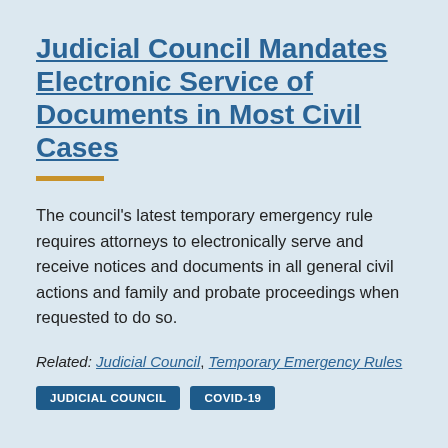Judicial Council Mandates Electronic Service of Documents in Most Civil Cases
The council's latest temporary emergency rule requires attorneys to electronically serve and receive notices and documents in all general civil actions and family and probate proceedings when requested to do so.
Related: Judicial Council, Temporary Emergency Rules
JUDICIAL COUNCIL
COVID-19